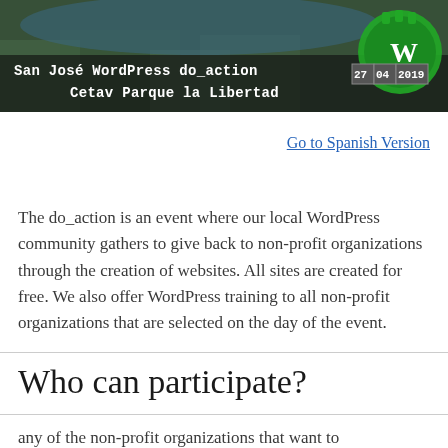[Figure (photo): Banner image for San José WordPress do_action event at Cetav Parque la Libertad, dated 27 04 2019, with aerial city photo background and WordPress logo character on right]
Go to Spanish Version
The do_action is an event where our local WordPress community gathers to give back to non-profit organizations through the creation of websites. All sites are created for free. We also offer WordPress training to all non-profit organizations that are selected on the day of the event.
Who can participate?
(partial text cut off at bottom)